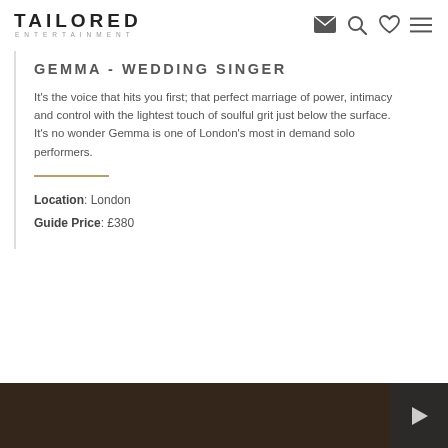TAILORED ENTERTAINMENT
GEMMA - WEDDING SINGER
It's the voice that hits you first; that perfect marriage of power, intimacy and control with the lightest touch of soulful grit just below the surface. It's no wonder Gemma is one of London's most in demand solo performers.
Location: London
Guide Price: £380
[Figure (photo): Dark background photograph of a performer, with a play button overlay in bottom-right corner]